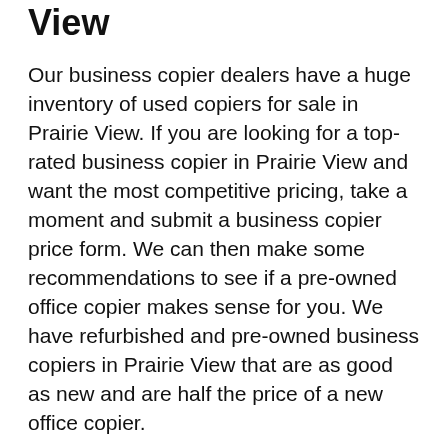View
Our business copier dealers have a huge inventory of used copiers for sale in Prairie View. If you are looking for a top-rated business copier in Prairie View and want the most competitive pricing, take a moment and submit a business copier price form. We can then make some recommendations to see if a pre-owned office copier makes sense for you. We have refurbished and pre-owned business copiers in Prairie View that are as good as new and are half the price of a new office copier.
Copier Rental in Prairie View
Searching for a office printer rental in Prairie View? Our printer brokers have thousands of copiers and printers in stock and are available